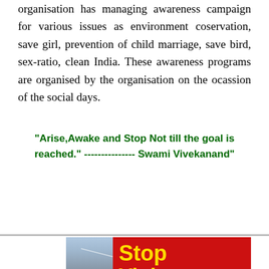organisation has managing awareness campaign for various issues as environment coservation, save girl, prevention of child marriage, save bird, sex-ratio, clean India. These awareness programs are organised by the organisation on the ocassion of the social days.
"Arise,Awake and Stop Not till the goal is reached." --------------- Swami Vivekanand"
[Figure (other): Red rounded button with white bold text reading SUPPORT US]
[Figure (photo): Photo of a man with glasses in front of a tent/canopy background, alongside a red banner with yellow bold text reading Stop Violence Against]